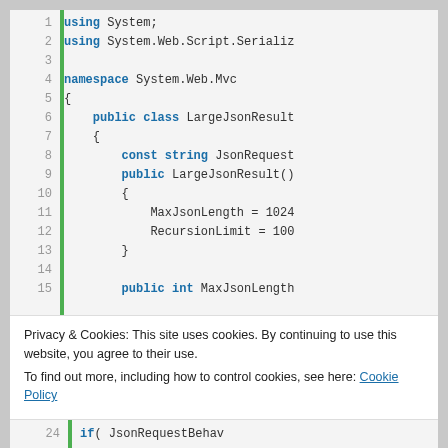[Figure (screenshot): Code editor screenshot showing C# code with line numbers 1-15 and 24. Lines show: using System; using System.Web.Script.Serializ; namespace System.Web.Mvc { public class LargeJsonResult { const string JsonRequest; public LargeJsonResult() { MaxJsonLength = 1024; RecursionLimit = 100; } public int MaxJsonLength. Line 24: if(JsonRequestBehav. Green vertical bar on left side of code area.]
Privacy & Cookies: This site uses cookies. By continuing to use this website, you agree to their use.
To find out more, including how to control cookies, see here: Cookie Policy